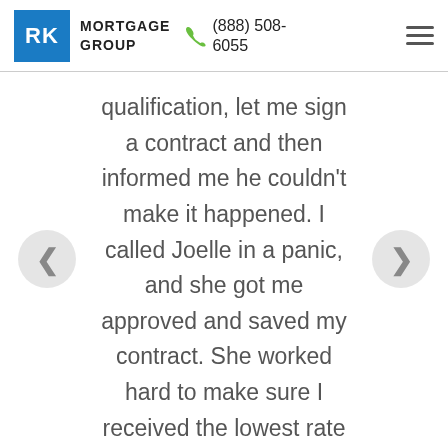RK MORTGAGE GROUP (888) 508-6055
qualification, let me sign a contract and then informed me he couldn’t make it happened. I called Joelle in a panic, and she got me approved and saved my contract. She worked hard to make sure I received the lowest rate